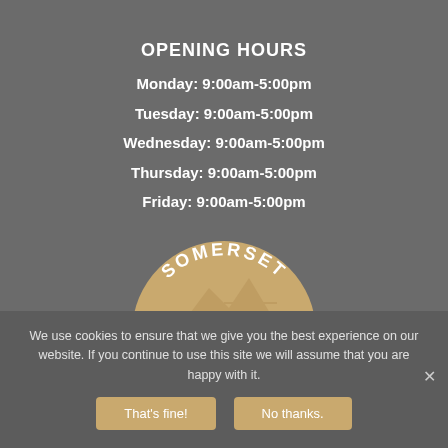OPENING HOURS
Monday: 9:00am-5:00pm
Tuesday: 9:00am-5:00pm
Wednesday: 9:00am-5:00pm
Thursday: 9:00am-5:00pm
Friday: 9:00am-5:00pm
[Figure (logo): Somerset semicircle logo with tan/gold background and white text SOMERSET arched along the top, with a simple mountain/landscape illustration inside]
We use cookies to ensure that we give you the best experience on our website. If you continue to use this site we will assume that you are happy with it.
That's fine!  No thanks.